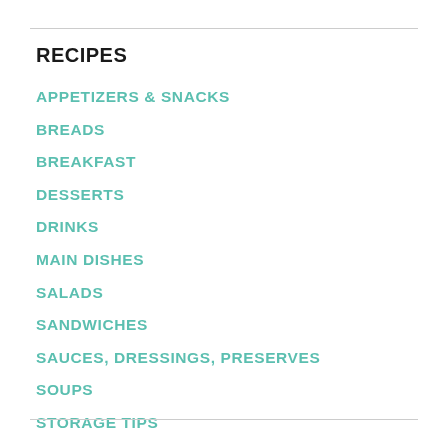RECIPES
APPETIZERS & SNACKS
BREADS
BREAKFAST
DESSERTS
DRINKS
MAIN DISHES
SALADS
SANDWICHES
SAUCES, DRESSINGS, PRESERVES
SOUPS
STORAGE TIPS
VEGETABLE & SIDE DISHES